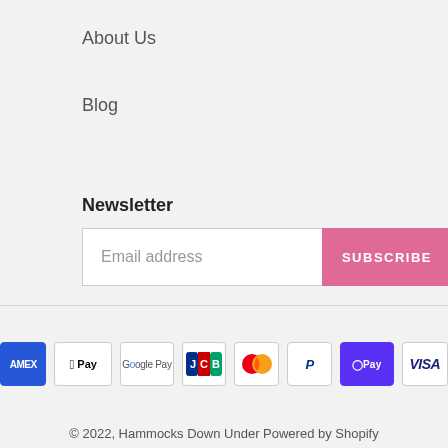About Us
Blog
Newsletter
[Figure (other): Email subscription form with text input labeled 'Email address' and a pink SUBSCRIBE button]
[Figure (other): Payment method icons: American Express, Apple Pay, Google Pay, JCB, Mastercard, PayPal, Shop Pay, Visa]
© 2022, Hammocks Down Under Powered by Shopify